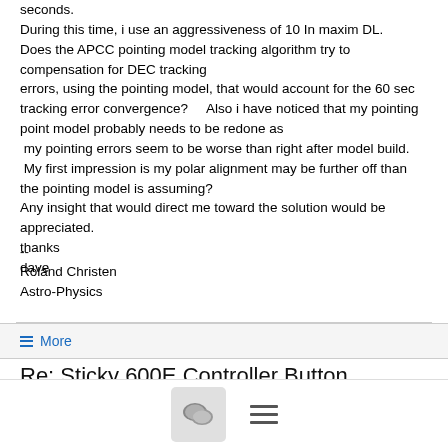seconds.
During this time, i use an aggressiveness of 10 In maxim DL.      Does the APCC pointing model tracking algorithm try to compensation for DEC tracking
errors, using the pointing model, that would account for the 60 sec tracking error convergence?      Also i have noticed that my pointing point model probably needs to be redone as
 my pointing errors seem to be worse than right after model build.
 My first impression is my polar alignment may be further off than the pointing model is assuming?
Any insight that would direct me toward the solution would be appreciated.
thanks
dave
--
Roland Christen
Astro-Physics
≡ More
Re: Sticky 600E Controller Button